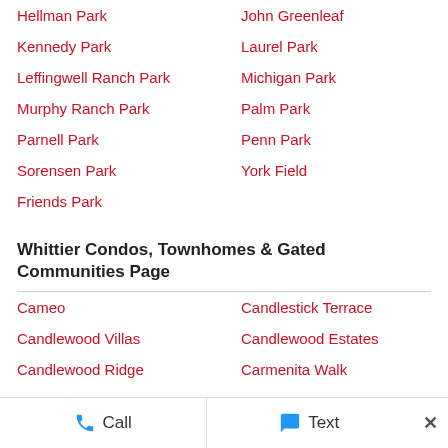Hellman Park
John Greenleaf
Kennedy Park
Laurel Park
Leffingwell Ranch Park
Michigan Park
Murphy Ranch Park
Palm Park
Parnell Park
Penn Park
Sorensen Park
York Field
Friends Park
Whittier Condos, Townhomes & Gated Communities Page
Cameo
Candlestick Terrace
Candlewood Villas
Candlewood Estates
Candlewood Ridge
Carmenita Walk